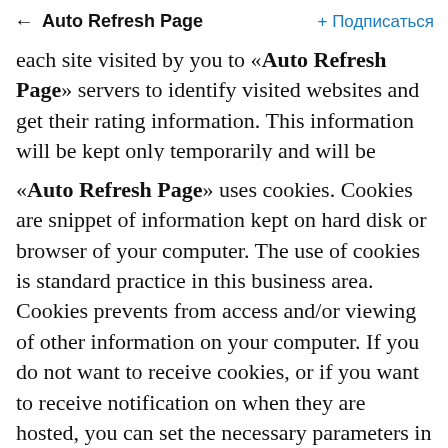← Auto Refresh Page   + Подписаться
each site visited by you to «Auto Refresh Page» servers to identify visited websites and get their rating information. This information will be kept only temporarily and will be destroyed in a month.
«Auto Refresh Page» uses cookies. Cookies are snippet of information kept on hard disk or browser of your computer. The use of cookies is standard practice in this business area. Cookies prevents from access and/or viewing of other information on your computer. If you do not want to receive cookies, or if you want to receive notification on when they are hosted, you can set the necessary parameters in presence of corresponding function in your Web browser. You should understand that if cookies are disabled, you